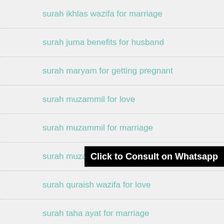surah ikhlas wazifa for marriage
surah juma benefits for husband
surah maryam for getting pregnant
surah muzammil for love
surah muzammil for marriage
surah muzammil wazifa
surah quraish wazifa for love
surah taha ayat for marriage
Surah Taha for Marriage in 7 Days
surah taha wazifa for love marriage